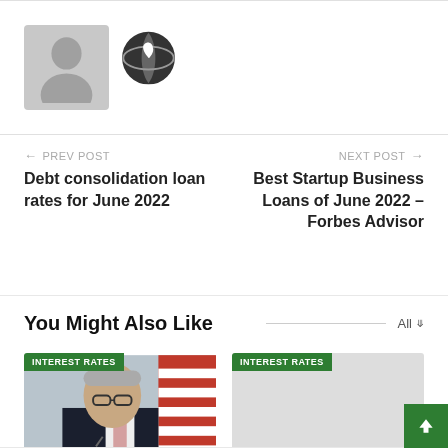[Figure (illustration): Gray avatar/profile placeholder image with a globe/location icon to the right]
← PREV POST
Debt consolidation loan rates for June 2022
NEXT POST →
Best Startup Business Loans of June 2022 – Forbes Advisor
You Might Also Like
[Figure (photo): Photo of a man in a suit speaking at a podium with an American flag in the background, with INTEREST RATES badge]
[Figure (photo): Gray placeholder image with INTEREST RATES badge]